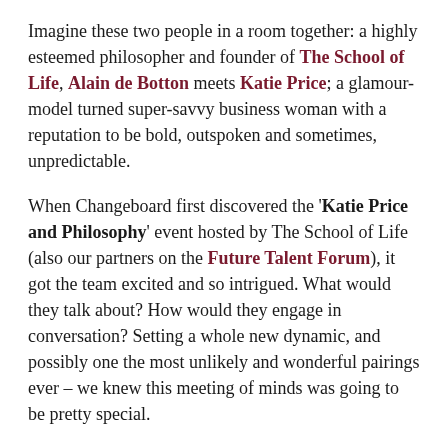Imagine these two people in a room together: a highly esteemed philosopher and founder of The School of Life, Alain de Botton meets Katie Price; a glamour-model turned super-savvy business woman with a reputation to be bold, outspoken and sometimes, unpredictable.
When Changeboard first discovered the 'Katie Price and Philosophy' event hosted by The School of Life (also our partners on the Future Talent Forum), it got the team excited and so intrigued. What would they talk about? How would they engage in conversation? Setting a whole new dynamic, and possibly one the most unlikely and wonderful pairings ever – we knew this meeting of minds was going to be pretty special.
We headed to The Emmanuel Centre in London – where the event was held on Wednesday 16th November – with a packed auditorium of 400 people, to watch Price consider the pros and cons of being one of the nation's most recognisable figures and her responsibilities as a role model.